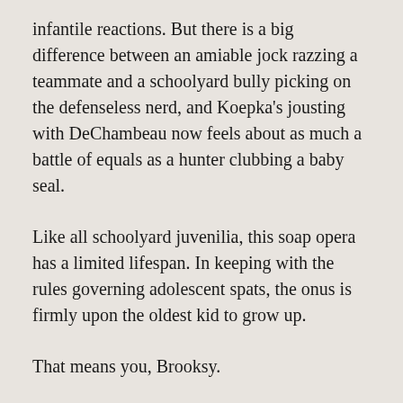infantile reactions. But there is a big difference between an amiable jock razzing a teammate and a schoolyard bully picking on the defenseless nerd, and Koepka's jousting with DeChambeau now feels about as much a battle of equals as a hunter clubbing a baby seal.
Like all schoolyard juvenilia, this soap opera has a limited lifespan. In keeping with the rules governing adolescent spats, the onus is firmly upon the oldest kid to grow up.
That means you, Brooksy.
Published at Golfweek.com, June 5, 2021.